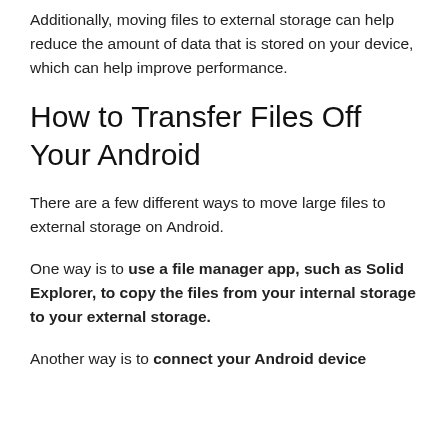Additionally, moving files to external storage can help reduce the amount of data that is stored on your device, which can help improve performance.
How to Transfer Files Off Your Android
There are a few different ways to move large files to external storage on Android.
One way is to use a file manager app, such as Solid Explorer, to copy the files from your internal storage to your external storage.
Another way is to connect your Android device